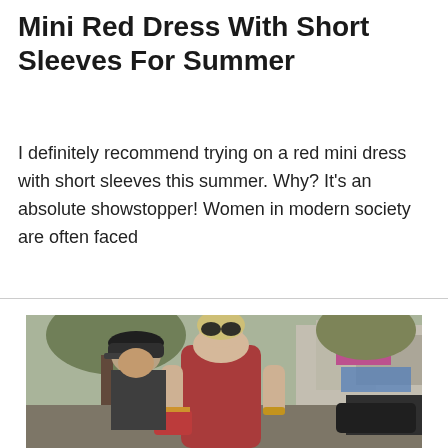Mini Red Dress With Short Sleeves For Summer
I definitely recommend trying on a red mini dress with short sleeves this summer. Why? It's an absolute showstopper! Women in modern society are often faced
[Figure (photo): A blonde woman wearing sunglasses and a red sleeveless mini dress, standing outdoors on a street. A man wearing a black cap is visible behind her. She is holding books/magazines. Urban background with trees and buildings.]